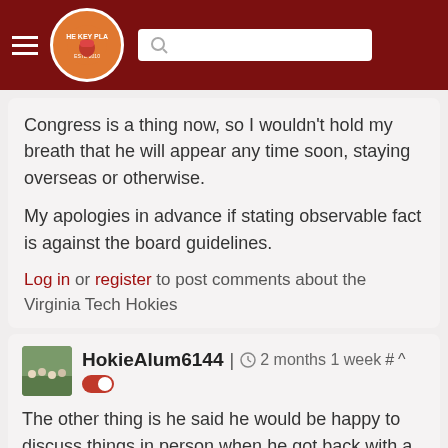The Key Play - navigation header
Congress is a thing now, so I wouldn't hold my breath that he will appear any time soon, staying overseas or otherwise.

My apologies in advance if stating observable fact is against the board guidelines.

Log in or register to post comments about the Virginia Tech Hokies
HokieAlum6144 | 2 months 1 week # ^ [toggle]

The other thing is he said he would be happy to discuss things in person when he got back with a lawyer present. They wanted him to come back immediately regardless of his plans or to do it via zoom with no lawyer. He told them no.